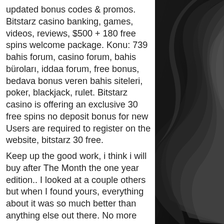updated bonus codes &amp; promos. Bitstarz casino banking, games, videos, reviews, $500 + 180 free spins welcome package. Konu: 739 bahis forum, casino forum, bahis bürolarü, iddaa forum, free bonus, bedava bonus veren bahis siteleri, poker, blackjack, rulet. Bitstarz casino is offering an exclusive 30 free spins no deposit bonus for new Users are required to register on the website, bitstarz 30 free.
Keep up the good work, i think i will buy after The Month the one year edition.. I looked at a couple others but when I found yours, everything about it was so much better than anything else out there. No more words to describe than PERFECT, bitstarz giri gratuiti bonus codes. I have no words.
Bitstarz is a crypto gambling provider that is all about being the best at. Included in the bitstarz casino no deposit bonus offers, is the 30 free spins gained upon registration - please note that these have to be played
[Figure (photo): Abstract dark image with layered curved shapes in black and dark grey tones, occupying the right portion of the page.]